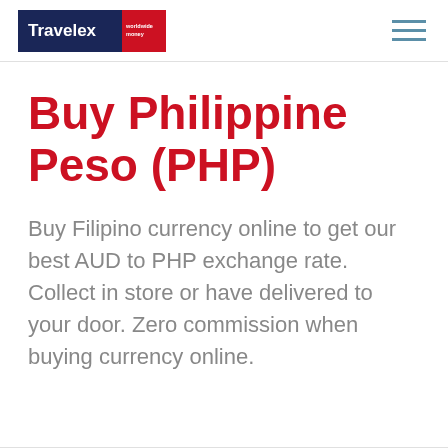Travelex worldwide money
Buy Philippine Peso (PHP)
Buy Filipino currency online to get our best AUD to PHP exchange rate. Collect in store or have delivered to your door. Zero commission when buying currency online.